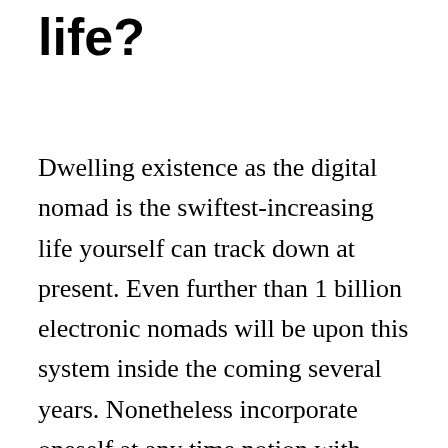life?
Dwelling existence as the digital nomad is the swiftest-increasing life yourself can track down at present. Even further than 1 billion electronic nomads will be upon this system inside the coming several years. Nonetheless incorporate oneself at any time notion with regards to why it is consequently distinguished? Why do us citizens get toward get …